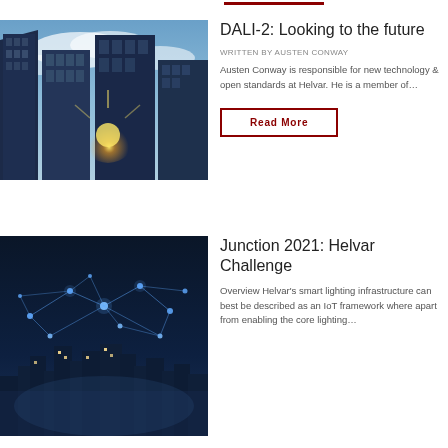[Figure (photo): Upward view of tall glass skyscrapers against a blue cloudy sky with sunlight flare]
DALI-2: Looking to the future
WRITTEN BY AUSTEN CONWAY
Austen Conway is responsible for new technology & open standards at Helvar. He is a member of…
Read More
[Figure (photo): Night aerial view of a city with glowing network connection lines overlaid]
Junction 2021: Helvar Challenge
Overview Helvar's smart lighting infrastructure can best be described as an IoT framework where apart from enabling the core lighting…